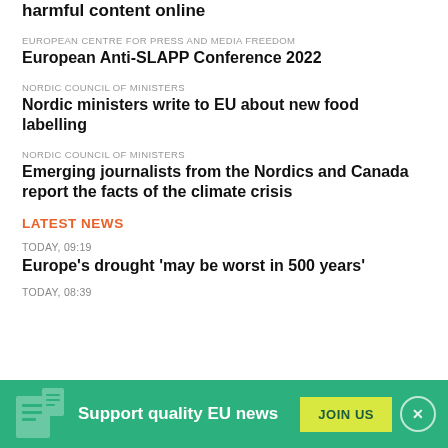Nordic and Canadian ministers join forces to combat harmful content online
EUROPEAN CENTRE FOR PRESS AND MEDIA FREEDOM
European Anti-SLAPP Conference 2022
NORDIC COUNCIL OF MINISTERS
Nordic ministers write to EU about new food labelling
NORDIC COUNCIL OF MINISTERS
Emerging journalists from the Nordics and Canada report the facts of the climate crisis
LATEST NEWS
TODAY, 09:19
Europe's drought 'may be worst in 500 years'
TODAY, 08:39
Support quality EU news
JOIN US